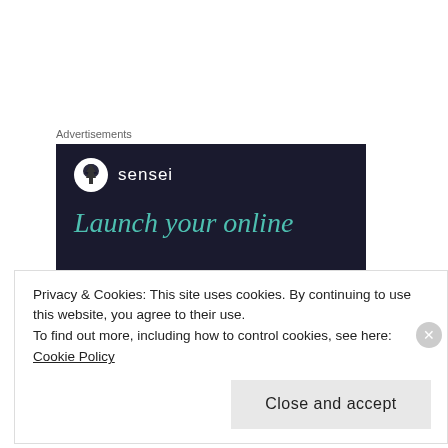Advertisements
[Figure (illustration): Sensei advertisement banner with dark navy background, Sensei logo (tree icon in circle) and text 'sensei', and teal italic text reading 'Launch your online']
– The Tablet: 'Books of the Week', p. 11, 06 July 1963
Posted in 10 to 19 and tagged Abundance, Anonymous, artscanada, Attain, 'a dark mist', 'Black as Symbol and Concept', 'Black', 'Books of
Privacy & Cookies: This site uses cookies. By continuing to use this website, you agree to their use.
To find out more, including how to control cookies, see here: Cookie Policy
Close and accept